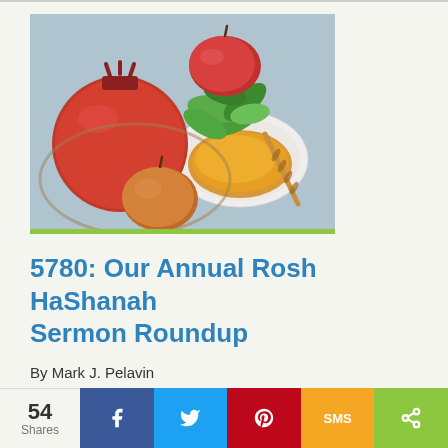[Figure (photo): Overhead photo of Rosh HaShanah symbols: red pomegranate, apples, green leaves, and a white bowl of honey with a honey dipper, on a light blue background]
5780: Our Annual Rosh HaShanah Sermon Roundup
By Mark J. Pelavin
Typically, at some point in my work on this project, my wife will lean over my shoulder and ask me, in
54 Shares  f  Twitter  Pinterest  SMS  Share